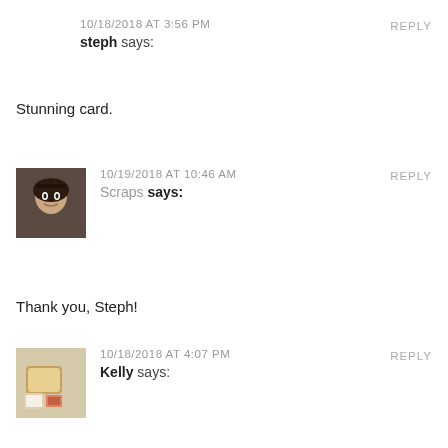10/18/2018 AT 3:56 PM
REPLY
steph says:
Stunning card.
[Figure (photo): Avatar photo of Scraps commenter]
10/19/2018 AT 10:46 AM
REPLY
Scraps says:
Thank you, Steph!
[Figure (photo): Avatar photo of Kelly commenter showing a mug and cards]
10/18/2018 AT 4:07 PM
REPLY
Kelly says:
What a unique card!
[Figure (photo): Avatar photo of another commenter, partially visible]
10/19/2018 AT 10:47 AM
REPLY